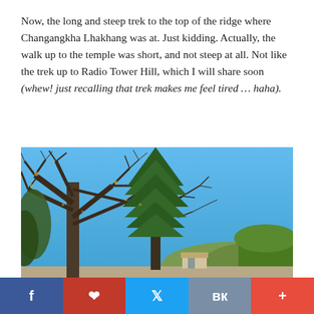Now, the long and steep trek to the top of the ridge where Changangkha Lhakhang was at. Just kidding. Actually, the walk up to the temple was short, and not steep at all. Not like the trek up to Radio Tower Hill, which I will share soon (whew! just recalling that trek makes me feel tired ... haha).
[Figure (photo): Photo of bare winter trees with dark branches against a clear blue sky, with green shrubs and hills visible in the background, and a small building at the bottom center.]